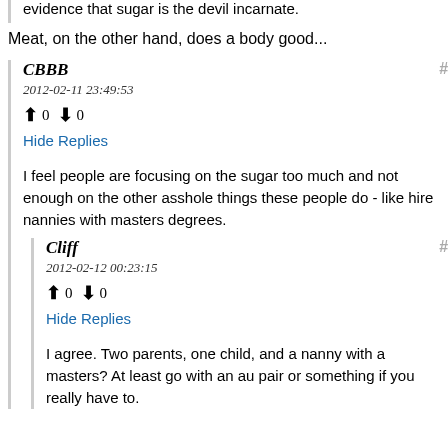evidence that sugar is the devil incarnate.
Meat, on the other hand, does a body good...
CBBB
2012-02-11 23:49:53
↑ 0 ↓ 0
Hide Replies
I feel people are focusing on the sugar too much and not enough on the other asshole things these people do - like hire nannies with masters degrees.
Cliff
2012-02-12 00:23:15
↑ 0 ↓ 0
Hide Replies
I agree. Two parents, one child, and a nanny with a masters? At least go with an au pair or something if you really have to.